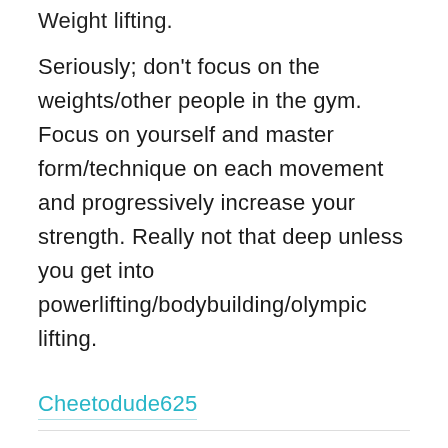Weight lifting.
Seriously; don't focus on the weights/other people in the gym. Focus on yourself and master form/technique on each movement and progressively increase your strength. Really not that deep unless you get into powerlifting/bodybuilding/olympic lifting.
Cheetodude625
"There is still wide stigma..."
Therapy. There is still wide stigma around it even though it's more than common these days in western countries especially. You don't have to have a mental health issue or be weird to go to